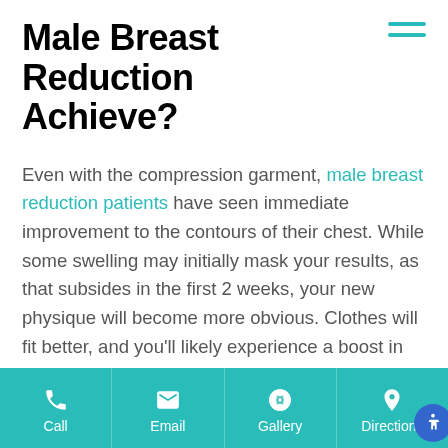Male Breast Reduction Achieve?
Even with the compression garment, male breast reduction patients have seen immediate improvement to the contours of their chest. While some swelling may initially mask your results, as that subsides in the first 2 weeks, your new physique will become more obvious. Clothes will fit better, and you'll likely experience a boost in self-confidence. Once you're cleared for strenuous exercise, keeping to a healthy exercise routine can help maintain your
Call | Email | Gallery | Directions